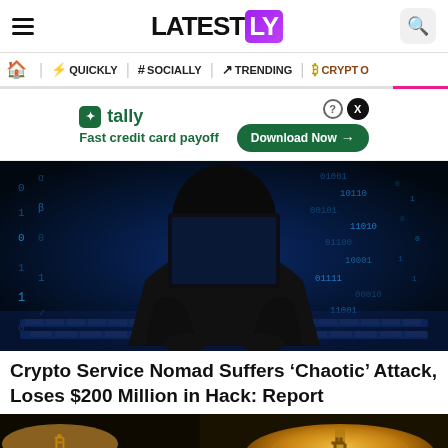LATESTLY
QUICKLY | # SOCIALLY | TRENDING | CRYPTO
[Figure (screenshot): Tally advertisement banner: Fast credit card payoff — Download Now button]
[Figure (photo): Dark hooded hacker figure in front of glowing blue matrix/binary code on keyboard background]
Crypto Service Nomad Suffers ‘Chaotic’ Attack, Loses $200 Million in Hack: Report
[Figure (photo): Bitcoin gold coins close-up photograph]